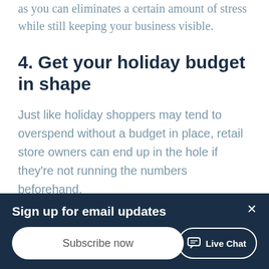as you can eliminates a certain amount of stress while still keeping your business visible.
4. Get your holiday budget in shape
Just like holiday shoppers may tend to overspend without a budget in place, retail store owners can end up in the hole if they're not running the numbers beforehand.
Go over your existing budget and consider
Sign up for email updates
Subscribe now
Live Chat